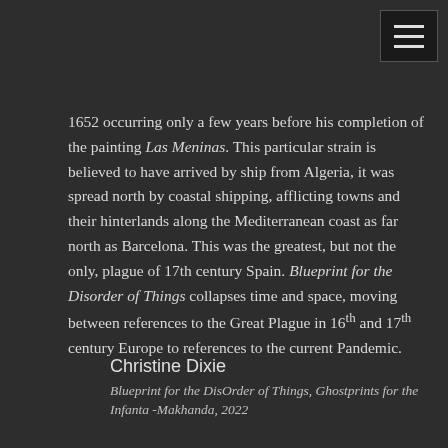[Figure (other): Hamburger menu button icon in top right corner]
1652 occurring only a few years before his completion of the painting Las Meninas. This particular strain is believed to have arrived by ship from Algeria, it was spread north by coastal shipping, afflicting towns and their hinterlands along the Mediterranean coast as far north as Barcelona. This was the greatest, but not the only, plague of 17th century Spain. Blueprint for the Disorder of Things collapses time and space, moving between references to the Great Plague in 16th and 17th century Europe to references to the current Pandemic.
Christine Dixie
Blueprint for the DisOrder of Things, Ghostprints for the Infanta -Makhanda, 2022